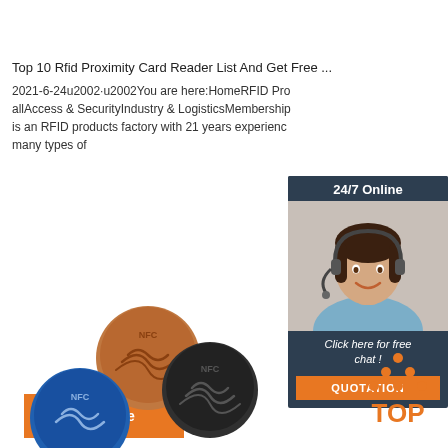Top 10 Rfid Proximity Card Reader List And Get Free ...
2021-6-24u2002·u2002You are here:HomeRFID Products for allAccess & SecurityIndustry & LogisticsMembership is an RFID products factory with 21 years experience many types of
Get Price
[Figure (illustration): Chat widget with 24/7 Online header, female customer service agent with headset, 'Click here for free chat!' text, and QUOTATION orange button]
[Figure (photo): NFC coin tags in brown, black, blue, and yellow colors with NFC logo and wave symbols]
[Figure (logo): TOP logo with orange dots arranged in triangle pattern above the word TOP in orange]